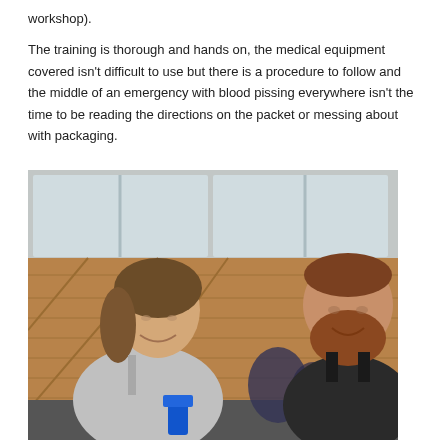workshop).

The training is thorough and hands on, the medical equipment covered isn't difficult to use but there is a procedure to follow and the middle of an emergency with blood pissing everywhere isn't the time to be reading the directions on the packet or messing about with packaging.
[Figure (photo): Two people sitting in a room with wooden paneling and frosted glass windows in the background. On the left is a woman with light brown/blonde hair in a ponytail wearing a grey hoodie, smiling and looking down, holding a blue object. On the right is a large bearded man wearing a black sleeveless shirt, also smiling. There is a backpack visible in the background.]